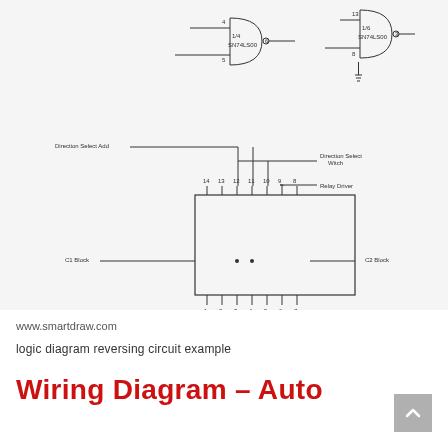[Figure (circuit-diagram): Logic diagram of automatic reversing circuit showing NAND gates (SN74LS00), a chip with pins labeled 14,13,12,11,10,9,8 on top and 1,2,3,4,5,6,7 on bottom, with signal labels: Direction Select Add, Direction Select Witch, Relay Driver, C1 Block, C2 Block, Q2/Q2 Select Timer B, Q3/Q4 Select Timer A. Title block at bottom reads LOGIC DIAGRAM / AUTOMATIC REVERSING CIRCUIT with columns DRAWN BY, CHECKED, DATE, SCALE, SHEET NO.]
www.smartdraw.com
logic diagram reversing circuit example
Wiring Diagram – Auto